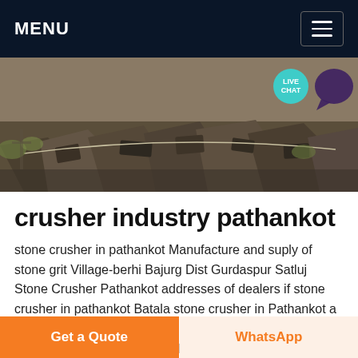MENU
[Figure (photo): Photo of construction rubble/crusher industry debris with heavy machinery remains, outdoor setting with dry vegetation.]
crusher industry pathankot
stone crusher in pathankot Manufacture and suply of stone grit Village-berhi Bajurg Dist Gurdaspur Satluj Stone Crusher Pathankot addresses of dealers if stone crusher in pathankot Batala stone crusher in Pathankot a bank in Smalsar and a petrol station in Ambala Mr Vinod Thapar president Knitwear Club in his welcome address said
Get a Quote
WhatsApp